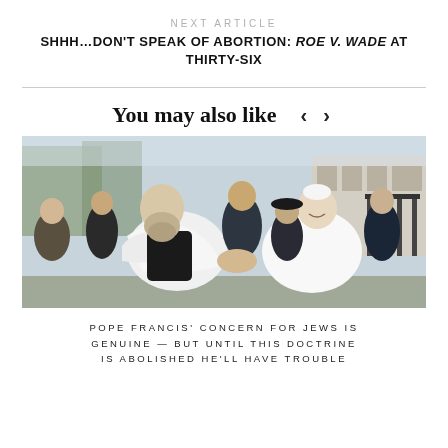NEXT ARTICLE
SHHH…DON'T SPEAK OF ABORTION: ROE V. WADE AT THIRTY-SIX
You may also like
[Figure (photo): Two men shaking hands outdoors — one wearing a white rabbi shawl and the other in white papal vestments (Pope Francis), surrounded by several onlookers in a courtyard setting.]
POPE FRANCIS' CONCERN FOR JEWS IS GENUINE — BUT UNTIL THIS DOCTRINE IS ABOLISHED HE'LL HAVE TROUBLE